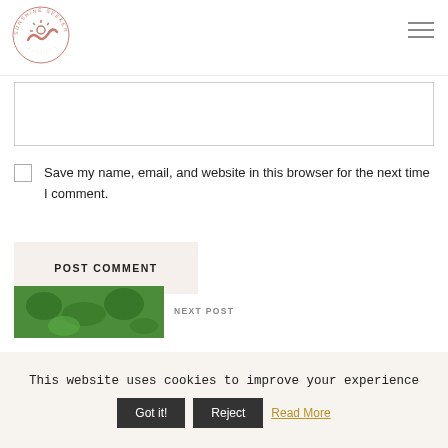Sunshine Seeker logo and navigation
[Figure (logo): Circular logo with a wave and sun design, text around the circle reading 'SUNSHINE SEEKER' in coral/rose color]
(text input box for comment)
Save my name, email, and website in this browser for the next time I comment.
POST COMMENT
[Figure (photo): Green foliage photo thumbnail for next post]
NEXT POST
This website uses cookies to improve your experience
Got it!   Reject   Read More